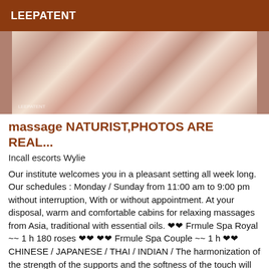LEEPATENT
[Figure (photo): Close-up photo of a person wearing a floral dress, cropped to show torso and arms]
massage NATURIST,PHOTOS ARE REAL...
Incall escorts Wylie
Our institute welcomes you in a pleasant setting all week long. Our schedules : Monday / Sunday from 11:00 am to 9:00 pm without interruption, With or without appointment. At your disposal, warm and comfortable cabins for relaxing massages from Asia, traditional with essential oils. ❤❤ Frmule Spa Royal ~~ 1 h 180 roses ❤❤ ❤❤ Frmule Spa Couple ~~ 1 h ❤❤ CHINESE / JAPANESE / THAI / INDIAN / The harmonization of the strength of the supports and the softness of the touch will soothe your muscular tensions and will bring you calm and tranquility. Allow yourself this moment of